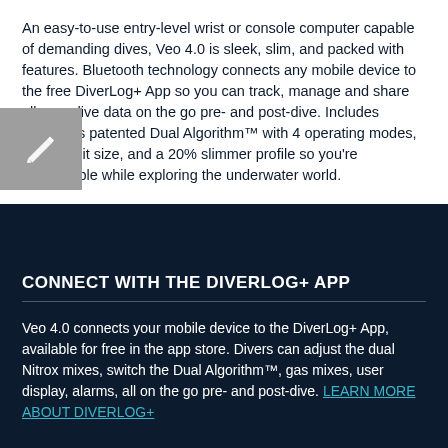An easy-to-use entry-level wrist or console computer capable of demanding dives, Veo 4.0 is sleek, slim, and packed with features. Bluetooth technology connects any mobile device to the free DiverLog+ App so you can track, manage and share all your dive data on the go pre- and post-dive. Includes Oceanic's patented Dual Algorithm™ with 4 operating modes, larger digit size, and a 20% slimmer profile so you're comfortable while exploring the underwater world.
CONNECT WITH THE DIVERLOG+ APP
Veo 4.0 connects your mobile device to the DiverLog+ App, available for free in the app store. Divers can adjust the dual Nitrox mixes, switch the Dual Algorithm™, gas mixes, user display, alarms, all on the go pre- and post-dive. LEARN MORE ABOUT DIVERLOG+